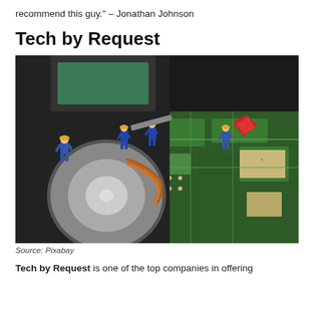recommend this guy." – Jonathan Johnson
Tech by Request
[Figure (photo): Miniature figurines of workers in blue overalls and yellow hard hats working on the interior of a hard disk drive / circuit board, macro photography.]
Source: Pixabay
Tech by Request is one of the top companies in offering